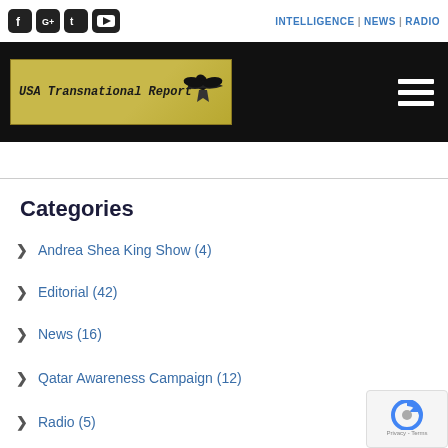Social icons (Facebook, Google+, Twitter, YouTube) | INTELLIGENCE | NEWS | RADIO
[Figure (logo): USA Transnational Report logo with eagle on golden/khaki background, on black banner with hamburger menu icon]
Categories
Andrea Shea King Show (4)
Editorial (42)
News (16)
Qatar Awareness Campaign (12)
Radio (5)